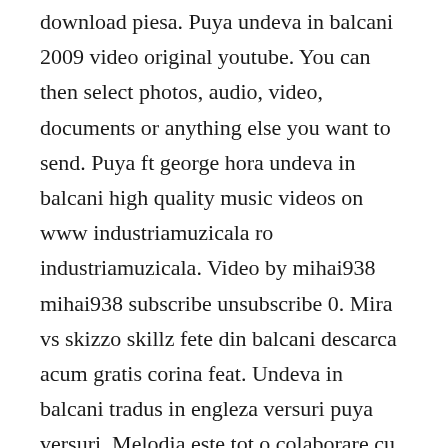download piesa. Puya undeva in balcani 2009 video original youtube. You can then select photos, audio, video, documents or anything else you want to send. Puya ft george hora undeva in balcani high quality music videos on www industriamuzicala ro industriamuzicala. Video by mihai938 mihai938 subscribe unsubscribe 0. Mira vs skizzo skillz fete din balcani descarca acum gratis corina feat. Undeva in balcani tradus in engleza versuri puya versuri. Melodia este tot o colaborare cu george hora, cel cu care puya nea incantat cu hitul primaverii undeva in